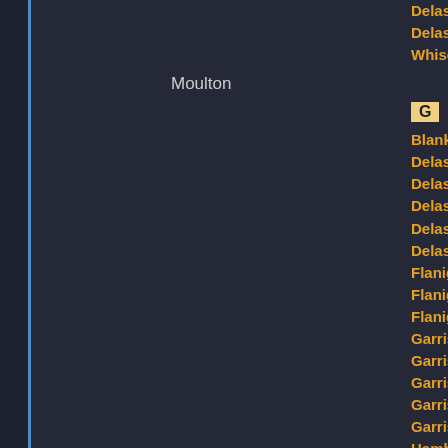Delashaw, John G.  b. 1884, d. 1947
Delashaw, Lillian M.  b. 1908
Whisenant, Ella S.  b. 1891, d. 1977
Moulton
G
Blankenship, Florence Mary  b. 1900
Delashaw, Earnest G.  b. 1918, d. 199
Delashaw, Floyd Lawrence  b. 1910,
Delashaw, John G.  b. 1884, d. 1947
Delashaw, John Price  b. 1915, d. 199
Delashaw, Lillian M.  b. 1908
Flanigan, James Russell  b. circa 191
Flanigan, Linnie Arminda  b. 1914, d.
Flanigan, Lloyd Fennell  b. 1908, d. 1
Garrison, Ellen  b. circa 1872
Garrison, James  b. circa 1870
Garrison, Jerome  b. circa 1854, d. be
Garrison, Joe  b. circa 1878
Garrison, John  b. circa 1876
Hamby, Ona Kathleen  b. 1932, d. 201
Smith, Mary  b. circa 1824, d. circa 18
Warren, Carrie Bea  b. 1918, d. 2013
Warren, Irene  b. 1920, d. 2009
Warren, James Luney  b. 1894, d. 195
Warren, Mable Lee  b. 1915, d. 2009
Whisenant, ...